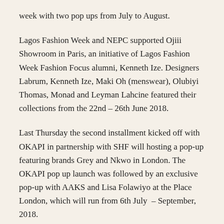week with two pop ups from July to August.
Lagos Fashion Week and NEPC supported Ojiii Showroom in Paris, an initiative of Lagos Fashion Week Fashion Focus alumni, Kenneth Ize. Designers Labrum, Kenneth Ize, Maki Oh (menswear), Olubiyi Thomas, Monad and Leyman Lahcine featured their collections from the 22nd – 26th June 2018.
Last Thursday the second installment kicked off with OKAPI in partnership with SHF will hosting a pop-up featuring brands Grey and Nkwo in London. The OKAPI pop up launch was followed by an exclusive pop-up with AAKS and Lisa Folawiyo at the Place London, which will run from 6th July – September, 2018.
Lastly Nkwo and Grey will be available to buy at Okapi at Eaton Terrace, London, SW1W8TS. AAKS and Lisa Folawiyo will be available to buy in store at The Place